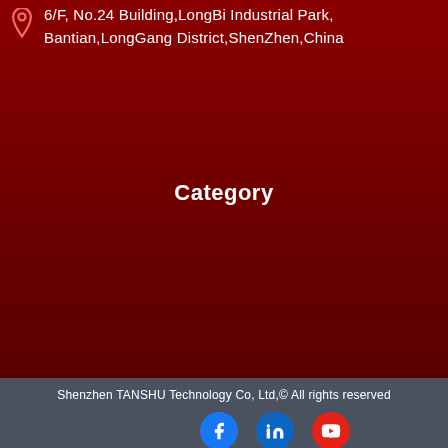6/F, No.24 Building,LongBi Industrial Park, Bantian,LongGang District,ShenZhen,China
Category
Shenzhen TANSHU Technology Co, Ltd,© All rights reserved